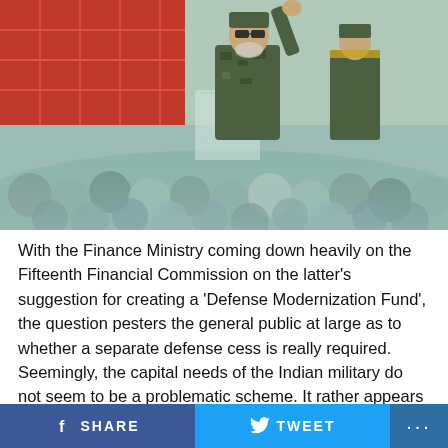[Figure (photo): A military or political figure in camouflage uniform standing at a glass podium with one arm raised, addressing a large crowd of soldiers wearing military caps in the foreground. Red structure visible in background on the left.]
With the Finance Ministry coming down heavily on the Fifteenth Financial Commission on the latter's suggestion for creating a 'Defense Modernization Fund', the question pesters the general public at large as to whether a separate defense cess is really required. Seemingly, the capital needs of the Indian military do not seem to be a problematic scheme. It rather appears to envisage a
f SHARE    🐦 TWEET    ...